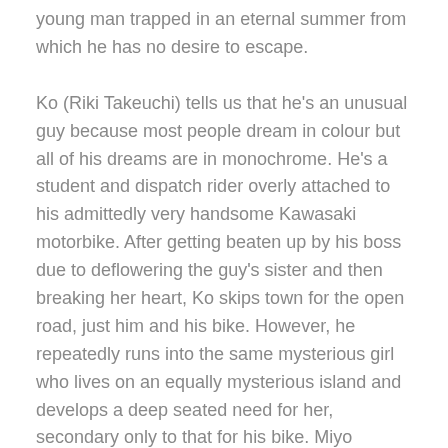young man trapped in an eternal summer from which he has no desire to escape.
Ko (Riki Takeuchi) tells us that he's an unusual guy because most people dream in colour but all of his dreams are in monochrome. He's a student and dispatch rider overly attached to his admittedly very handsome Kawasaki motorbike. After getting beaten up by his boss due to deflowering the guy's sister and then breaking her heart, Ko skips town for the open road, just him and his bike. However, he repeatedly runs into the same mysterious girl who lives on an equally mysterious island and develops a deep seated need for her, secondary only to that for his bike. Miyo (Kiwako Harada) has also taken a liking to the Kawasaki and is intent on getting her full motorcycle license. Her growing obsession with the bike threatens to become an all consuming need driving a wedge between the two young lovers.
Obayashi begins in a black and white sequence window boxed in